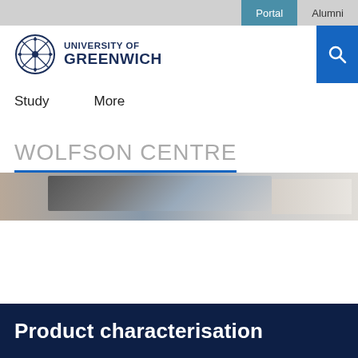Portal  Alumni
[Figure (logo): University of Greenwich logo with circular compass emblem and text UNIVERSITY OF GREENWICH]
Study   More
WOLFSON CENTRE
[Figure (photo): Blurred hero image showing laboratory or office equipment]
Product characterisation